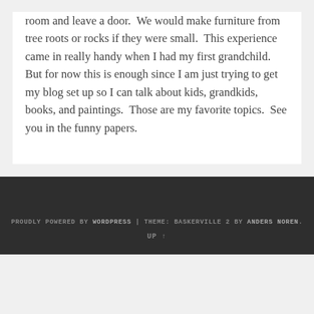room and leave a door.  We would make furniture from tree roots or rocks if they were small.  This experience came in really handy when I had my first grandchild.  But for now this is enough since I am just trying to get my blog set up so I can talk about kids, grandkids, books, and paintings.  Those are my favorite topics.  See you in the funny papers.
PROUDLY POWERED BY WORDPRESS | THEME: BASKERVILLE 2 BY ANDERS NOREN.  UP ↑